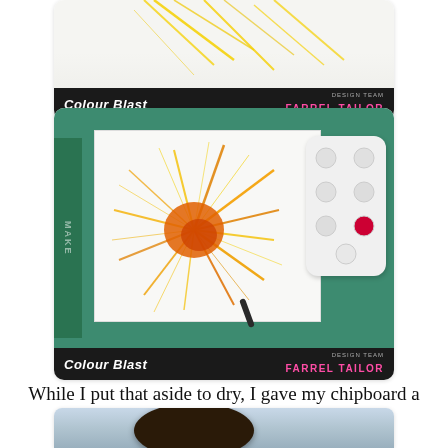[Figure (photo): Top cropped photo showing yellow paint splatter on white paper with a dark Colour Blast / Design Team Farrel Tailor banner at the bottom]
[Figure (photo): Photo of orange and yellow ink/paint splatter on white paper placed on a green cutting mat, with a white paint palette holding red pigment and a brush, with a Colour Blast / Design Team Farrel Tailor banner at the bottom]
While I put that aside to dry, I gave my chipboard a coat of Black Heavy Gesso.
[Figure (photo): Partially visible photo at the bottom showing a round tin of Black Heavy Gesso product and other art supplies]